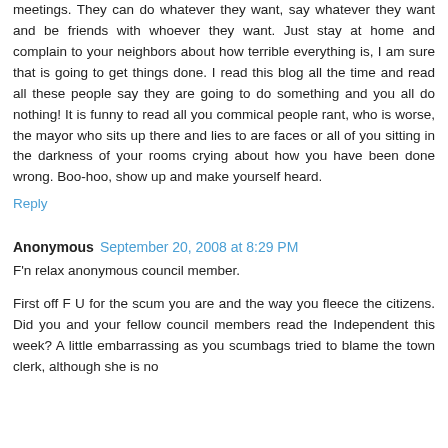meetings. They can do whatever they want, say whatever they want and be friends with whoever they want. Just stay at home and complain to your neighbors about how terrible everything is, I am sure that is going to get things done. I read this blog all the time and read all these people say they are going to do something and you all do nothing! It is funny to read all you commical people rant, who is worse, the mayor who sits up there and lies to are faces or all of you sitting in the darkness of your rooms crying about how you have been done wrong. Boo-hoo, show up and make yourself heard.
Reply
Anonymous  September 20, 2008 at 8:29 PM
F'n relax anonymous council member.
First off F U for the scum you are and the way you fleece the citizens. Did you and your fellow council members read the Independent this week? A little embarrassing as you scumbags tried to blame the town clerk, although she is no